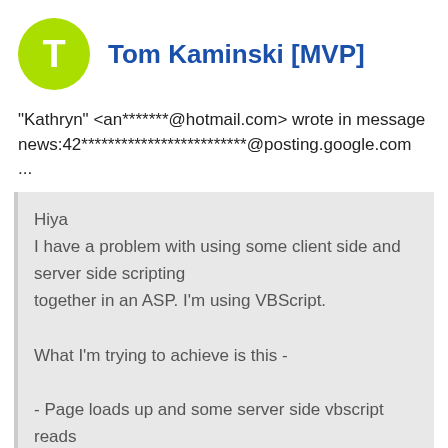[Figure (other): Green circular avatar with white letter T]
Tom Kaminski [MVP]
"Kathryn" <an*******@hotmail.com> wrote in message news:42*************************@posting.google.com ...
Hiya
I have a problem with using some client side and server side scripting together in an ASP. I'm using VBScript.

What I'm trying to achieve is this -

- Page loads up and some server side vbscript reads the database and populates a listbox on the page with the first field